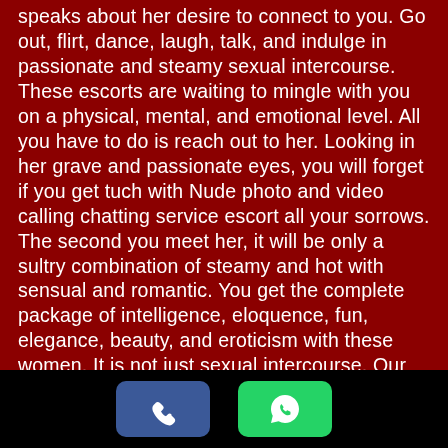speaks about her desire to connect to you. Go out, flirt, dance, laugh, talk, and indulge in passionate and steamy sexual intercourse. These escorts are waiting to mingle with you on a physical, mental, and emotional level. All you have to do is reach out to her. Looking in her grave and passionate eyes, you will forget if you get tuch with Nude photo and video calling chatting service escort all your sorrows. The second you meet her, it will be only a sultry combination of steamy and hot with sensual and romantic. You get the complete package of intelligence, eloquence, fun, elegance, beauty, and eroticism with these women. It is not just sexual intercourse. Our Escorts can show you what real pleasure is all.
[Figure (other): Footer bar with two buttons: a blue phone call button and a green WhatsApp button]